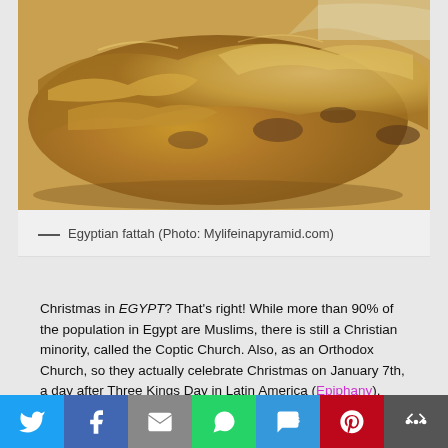[Figure (photo): Close-up photo of Egyptian fattah, a baked dish with layered golden-brown pastry or bread with meat filling, on a white plate]
— Egyptian fattah (Photo: Mylifeinapyramid.com)
Christmas in EGYPT? That's right! While more than 90% of the population in Egypt are Muslims, there is still a Christian minority, called the Coptic Church. Also, as an Orthodox Church, so they actually celebrate Christmas on January 7th, a day after Three Kings Day in Latin America (Epiphany). Then, on Christmas Eve, everyone goes to church midnight service wearing a brand-new outfit, then goes home afterward to eat delicious fata (pictured above).